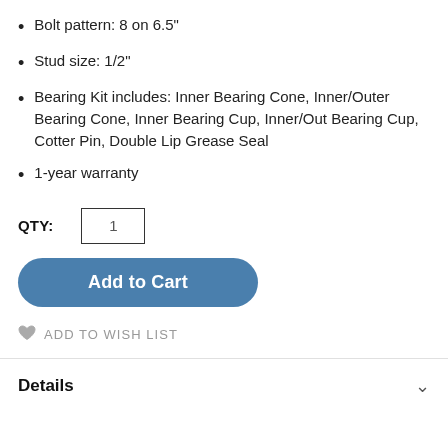Bolt pattern: 8 on 6.5"
Stud size: 1/2"
Bearing Kit includes: Inner Bearing Cone, Inner/Outer Bearing Cone, Inner Bearing Cup, Inner/Out Bearing Cup, Cotter Pin, Double Lip Grease Seal
1-year warranty
QTY: 1
Add to Cart
ADD TO WISH LIST
Details